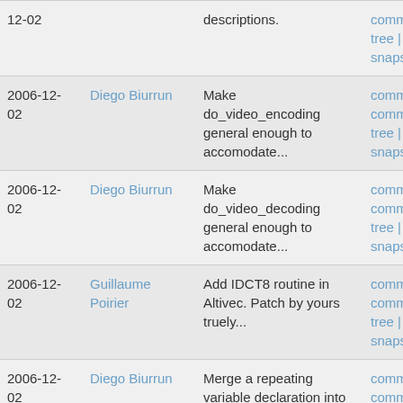| Date | Author | Commit message | Links |
| --- | --- | --- | --- |
| 12-02 |  | descriptions. | commitdiff | tree | snapshot |
| 2006-12-02 | Diego Biurrun | Make do_video_encoding general enough to accomodate... | commit | commitdiff | tree | snapshot |
| 2006-12-02 | Diego Biurrun | Make do_video_decoding general enough to accomodate... | commit | commitdiff | tree | snapshot |
| 2006-12-02 | Guillaume Poirier | Add IDCT8 routine in Altivec. Patch by yours truely... | commit | commitdiff | tree | snapshot |
| 2006-12-02 | Diego Biurrun | Merge a repeating variable declaration into do_video_en... | commit | commitdiff | tree | snapshot |
| 2006-12-02 | Diego Biurrun | spelling cosmetics: cliped --> clipped | commit | commitdiff | tree | snapshot |